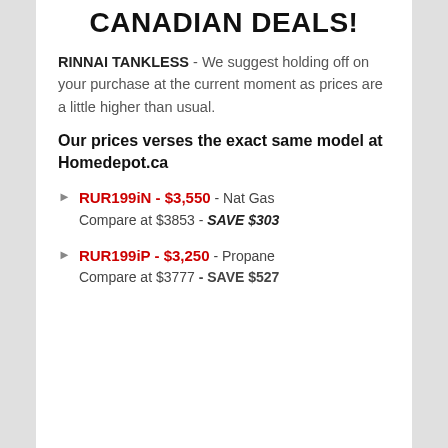CANADIAN DEALS!
RINNAI TANKLESS - We suggest holding off on your purchase at the current moment as prices are a little higher than usual.
Our prices verses the exact same model at Homedepot.ca
RUR199iN - $3,550 - Nat Gas Compare at $3853 - SAVE $303
RUR199iP - $3,250 - Propane Compare at $3777 - SAVE $527